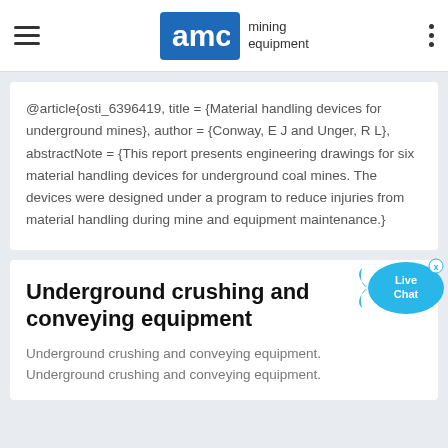AMC mining equipment
@article{osti_6396419, title = {Material handling devices for underground mines}, author = {Conway, E J and Unger, R L}, abstractNote = {This report presents engineering drawings for six material handling devices for underground coal mines. The devices were designed under a program to reduce injuries from material handling during mine and equipment maintenance.
Underground crushing and conveying equipment
Underground crushing and conveying equipment. Underground crushing and conveying equipment.